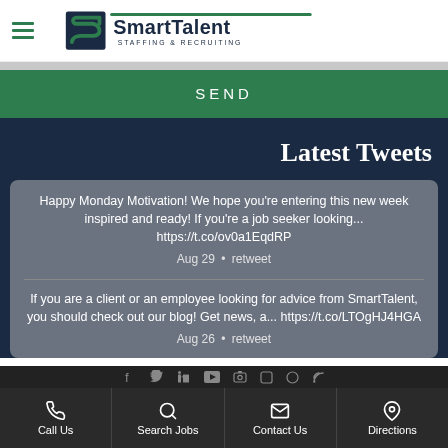SmartTalent Staffing & Recruiting
SEND
Latest Tweets
Happy Monday Motivation! We hope you’re entering this new week inspired and ready! If you’re a job seeker looking... https://t.co/ov0a1EqdRP
Aug 29 • retweet
If you are a client or an employee looking for advice from SmartTalent, you should check out our blog! Get news, a... https://t.co/LTOgHJ4HGA
Aug 26 • retweet
Call Us | Search Jobs | Contact Us | Directions